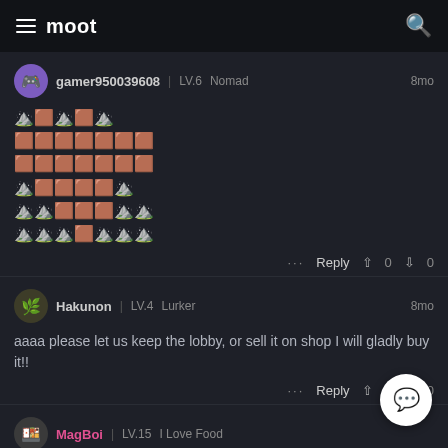moot
gamer950039608 | LV.6 Nomad  8mo
🔼🟫🔼🟫🔼
🟫🟫🟫🟫🟫🟫🟫
🟫🟫🟫🟫🟫🟫🟫
🔼🟫🟫🟫🟫🔼
🔼🔼🟫🟫🟫🔼🔼
🔼🔼🔼🟫🔼🔼🔼
Hakunon | LV.4 Lurker  8mo
aaaa please let us keep the lobby, or sell it on shop I will gladly buy it!!
MagBoi | LV.15 I Love Food
uwu ☺